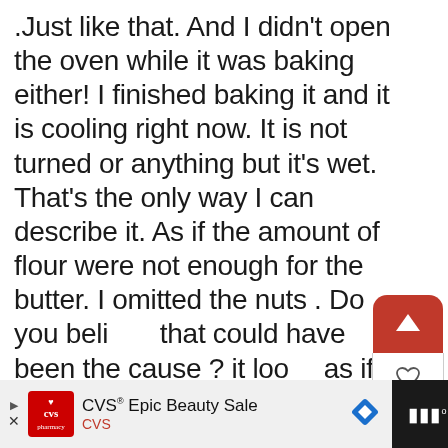.Just like that. And I didn't open the oven while it was baking either! I finished baking it and it is cooling right now. It is not turned or anything but it's wet. That's the only way I can describe it. As if the amount of flour were not enough for the butter. I omitted the nuts . Do you believe that could have been the cause ? it looks as if the batter didn't have the "support" it needed to remain risen. Does that make sense ?
[Figure (screenshot): UI overlay with upvote button (red), heart button, 25K count, and share button on the right side]
[Figure (screenshot): Red REPLY button with back arrow icon, and a 'WHAT'S NEXT' panel showing a bread loaf image with text 'How To Line a Loaf or Pou...']
[Figure (screenshot): Advertisement bar at bottom: CVS Epic Beauty Sale advertisement with CVS logo, navigation diamond, and dark panel on right]